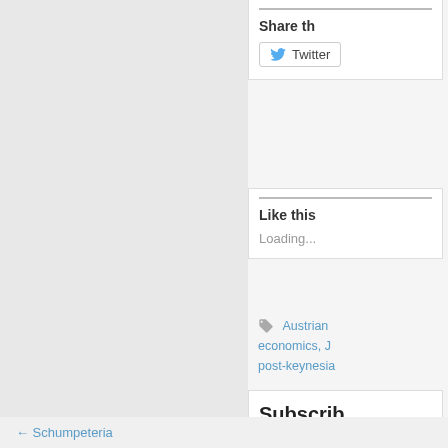Share th
Twitter
Like this
Loading...
Austrian economics, J post-keynesia
Subscrib
Subscribe to e
[Figure (logo): RSS feed orange icon]
[Figure (logo): Twitter blue icon]
← Schumpeteria